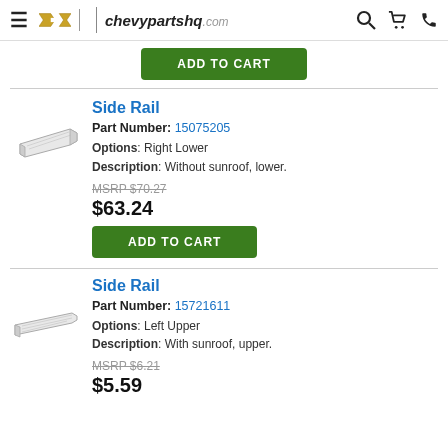chevypartshq.com
ADD TO CART
Side Rail
Part Number: 15075205
Options: Right Lower
Description: Without sunroof, lower.
MSRP $70.27
$63.24
ADD TO CART
Side Rail
Part Number: 15721611
Options: Left Upper
Description: With sunroof, upper.
MSRP $6.21
$5.59